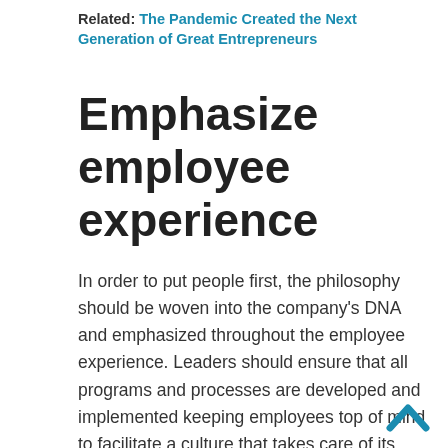Related: The Pandemic Created the Next Generation of Great Entrepreneurs
Emphasize employee experience
In order to put people first, the philosophy should be woven into the company's DNA and emphasized throughout the employee experience. Leaders should ensure that all programs and processes are developed and implemented keeping employees top of mind to facilitate a culture that takes care of its people from hire to retire. Companies that provide employees with an all-encompassing encounter that impacts their daily activities inside and outside of work, including professional, social,